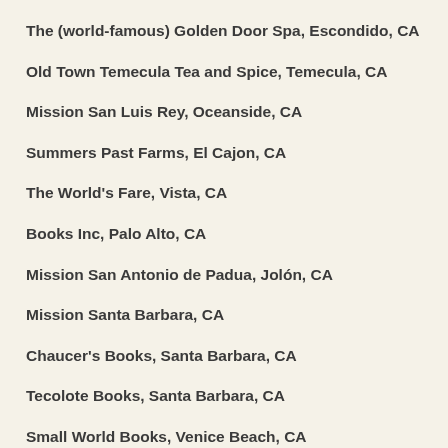The (world-famous) Golden Door Spa, Escondido, CA
Old Town Temecula Tea and Spice, Temecula, CA
Mission San Luis Rey, Oceanside, CA
Summers Past Farms, El Cajon, CA
The World's Fare, Vista, CA
Books Inc, Palo Alto, CA
Mission San Antonio de Padua, Jolón, CA
Mission Santa Barbara, CA
Chaucer's Books, Santa Barbara, CA
Tecolote Books, Santa Barbara, CA
Small World Books, Venice Beach, CA
Marina del Rey Garden Center, Marina del Rey, CA